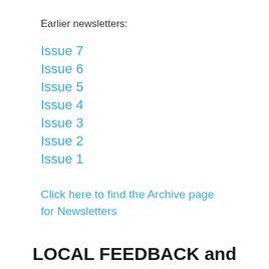Earlier newsletters:
Issue 7
Issue 6
Issue 5
Issue 4
Issue 3
Issue 2
Issue 1
Click here to find the Archive page for Newsletters
LOCAL FEEDBACK and